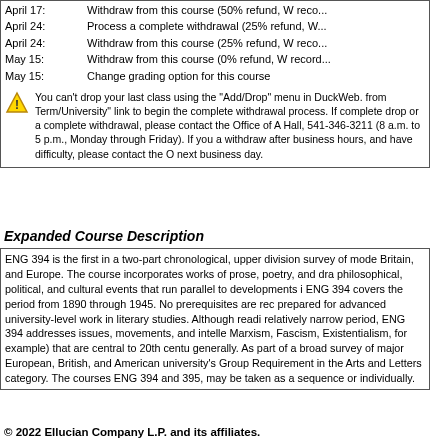| Date | Description |
| --- | --- |
| April 17: | Withdraw from this course (50% refund, W reco... |
| April 24: | Process a complete withdrawal (25% refund, W... |
| April 24: | Withdraw from this course (25% refund, W reco... |
| May 15: | Withdraw from this course (0% refund, W record... |
| May 15: | Change grading option for this course |
You can't drop your last class using the "Add/Drop" menu in DuckWeb. from Term/University" link to begin the complete withdrawal process. If complete drop or a complete withdrawal, please contact the Office of A Hall, 541-346-3211 (8 a.m. to 5 p.m., Monday through Friday). If you a withdraw after business hours, and have difficulty, please contact the O next business day.
Expanded Course Description
ENG 394 is the first in a two-part chronological, upper division survey of mode Britain, and Europe. The course incorporates works of prose, poetry, and dra philosophical, political, and cultural events that run parallel to developments i ENG 394 covers the period from 1890 through 1945. No prerequisites are rec prepared for advanced university-level work in literary studies. Although readi relatively narrow period, ENG 394 addresses issues, movements, and intelle Marxism, Fascism, Existentialism, for example) that are central to 20th centu generally. As part of a broad survey of major European, British, and American university's Group Requirement in the Arts and Letters category. The courses ENG 394 and 395, may be taken as a sequence or individually.
© 2022 Ellucian Company L.P. and its affiliates.